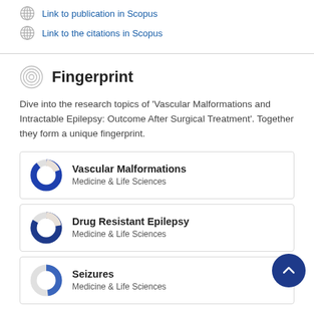Link to publication in Scopus
Link to the citations in Scopus
Fingerprint
Dive into the research topics of 'Vascular Malformations and Intractable Epilepsy: Outcome After Surgical Treatment'. Together they form a unique fingerprint.
[Figure (donut-chart): Donut chart for Vascular Malformations, approximately 88% filled, blue]
Vascular Malformations
Medicine & Life Sciences
[Figure (donut-chart): Donut chart for Drug Resistant Epilepsy, approximately 83% filled, dark blue]
Drug Resistant Epilepsy
Medicine & Life Sciences
[Figure (donut-chart): Donut chart for Seizures, approximately 48% filled, blue]
Seizures
Medicine & Life Sciences